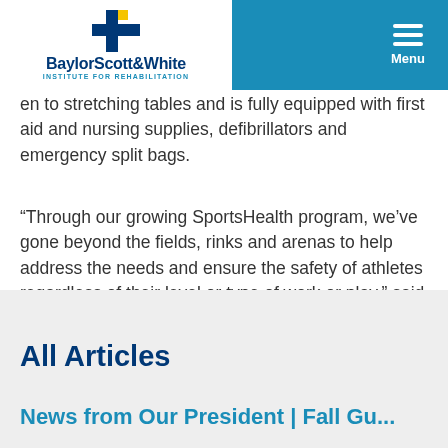Baylor Scott & White Institute for Rehabilitation — Menu navigation
...en to stretching tables and is fully equipped with first aid and nursing supplies, defibrillators and emergency split bags.
“Through our growing SportsHealth program, we’ve gone beyond the fields, rinks and arenas to help address the needs and ensure the safety of athletes regardless of their level or type of work or play,” said Goldberg.
All Articles